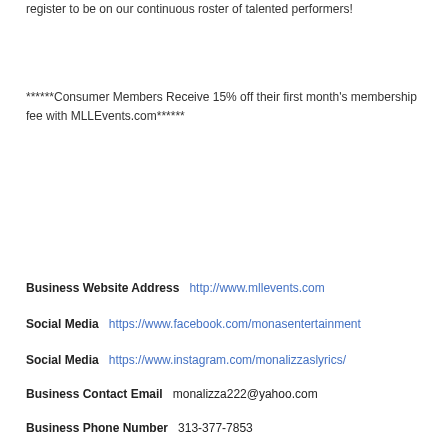register to be on our continuous roster of talented performers!
******Consumer Members Receive 15% off their first month's membership fee with MLLEvents.com******
Business Website Address   http://www.mllevents.com
Social Media   https://www.facebook.com/monasentertainment
Social Media   https://www.instagram.com/monalizzaslyrics/
Business Contact Email   monalizza222@yahoo.com
Business Phone Number   313-377-7853